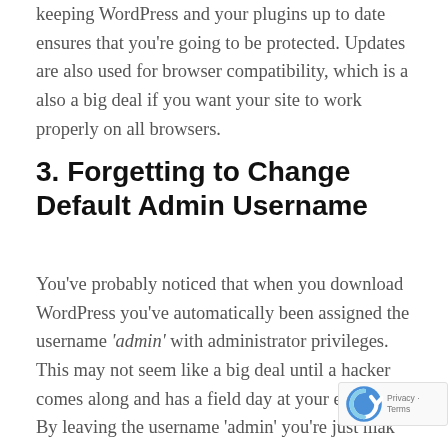keeping WordPress and your plugins up to date ensures that you're going to be protected. Updates are also used for browser compatibility, which is a also a big deal if you want your site to work properly on all browsers.
3. Forgetting to Change Default Admin Username
You've probably noticed that when you download WordPress you've automatically been assigned the username 'admin' with administrator privileges. This may not seem like a big deal until a hacker comes along and has a field day at your expense. By leaving the username 'admin' you're just mak easier for someone to come in and cause so